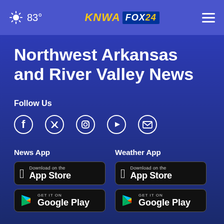83° KNWA FOX24
Northwest Arkansas and River Valley News
Follow Us
[Figure (infographic): Social media icons: Facebook, Twitter, Instagram, YouTube, Email]
News App
[Figure (infographic): Download on the App Store button (black)]
[Figure (infographic): GET IT ON Google Play button (black)]
Weather App
[Figure (infographic): Download on the App Store button (black)]
[Figure (infographic): GET IT ON Google Play button (black)]